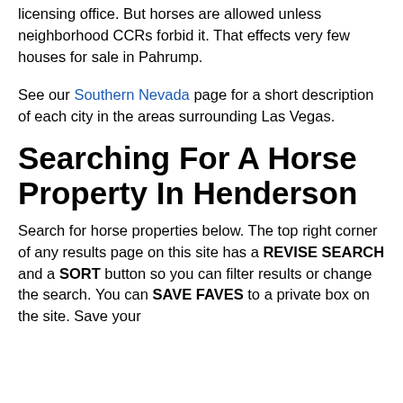licensing office. But horses are allowed unless neighborhood CCRs forbid it. That effects very few houses for sale in Pahrump.
See our Southern Nevada page for a short description of each city in the areas surrounding Las Vegas.
Searching For A Horse Property In Henderson
Search for horse properties below. The top right corner of any results page on this site has a REVISE SEARCH and a SORT button so you can filter results or change the search. You can SAVE FAVES to a private box on the site. Save your